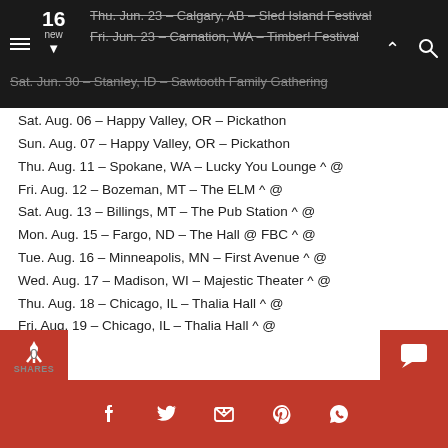Thu. Jun. 23 – Calgary, AB – Sled Island Festival
Fri. Jun. 23 – Carnation, WA – Timber! Festival
Sat. Jun. 30 – Stanley, ID – Sawtooth Family Gathering
Sat. Aug. 06 – Happy Valley, OR – Pickathon
Sun. Aug. 07 – Happy Valley, OR – Pickathon
Thu. Aug. 11 – Spokane, WA – Lucky You Lounge ^ @
Fri. Aug. 12 – Bozeman, MT – The ELM ^ @
Sat. Aug. 13 – Billings, MT – The Pub Station ^ @
Mon. Aug. 15 – Fargo, ND – The Hall @ FBC ^ @
Tue. Aug. 16 – Minneapolis, MN – First Avenue ^ @
Wed. Aug. 17 – Madison, WI – Majestic Theater ^ @
Thu. Aug. 18 – Chicago, IL – Thalia Hall ^ @
Fri. Aug. 19 – Chicago, IL – Thalia Hall ^ @
Sat. Aug. 20 – Louisville, KY – Headliner's Music Hall ^ @
Mon. Aug. 22 – Cincinnati, OH – Woodward Theater ^ @
Tue. Aug. 23 – Cleveland Heights, OH – Grog Shop ^ @
Wed. Aug. 24 – Toronto, ON – Danforth Music Hall %
Thu. Aug. 25 – Montreal, QC – Corona Theatre ^ %